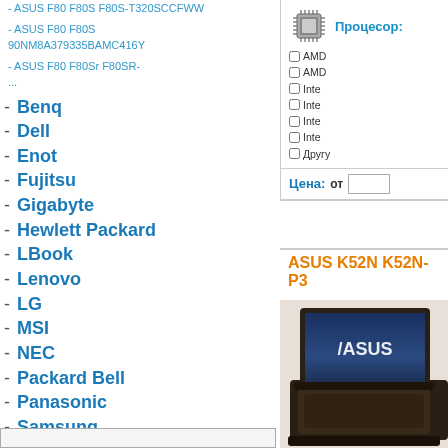- ASUS F80 F80S F80S-T320SCCFWW
- ASUS F80 F80S 90NM8A379335BAMC416Y
- ASUS F80 F80Sr F80SR-...
- Benq
- Dell
- Enot
- Fujitsu
- Gigabyte
- Hewlett Packard
- LBook
- Lenovo
- LG
- MSI
- NEC
- Packard Bell
- Panasonic
- Samsung
- Sony
- Toshiba
- ViewSonic
Процесор:
AMD, AMD, Intel, Intel, Intel, Intel, Другу
Цена: от
ASUS K52N K52N-P3...
[Figure (photo): ASUS laptop product photo showing a dark brown/black laptop with ASUS logo on screen]